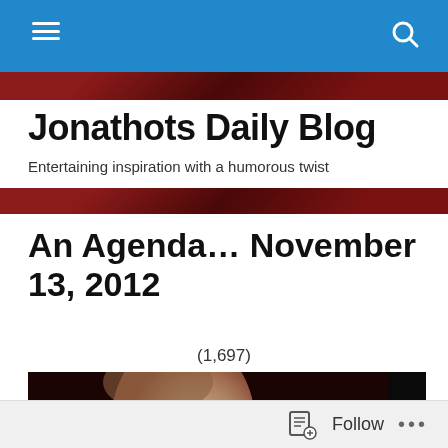Jonathots Daily Blog — navigation bar
Jonathots Daily Blog
Entertaining inspiration with a humorous twist
An Agenda… November 13, 2012
(1,697)
[Figure (photo): Close-up photo of a bald man's head and face against a dark red/brown background]
Follow  •••